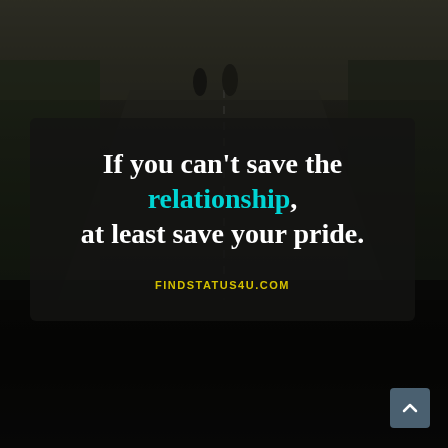[Figure (photo): Two people walking away on a road, surrounded by green vegetation on the sides, viewed from behind. Dark, moody atmosphere with a semi-transparent dark overlay and rounded-corner quote box in the center.]
If you can't save the relationship, at least save your pride.
FINDSTATUS4U.COM